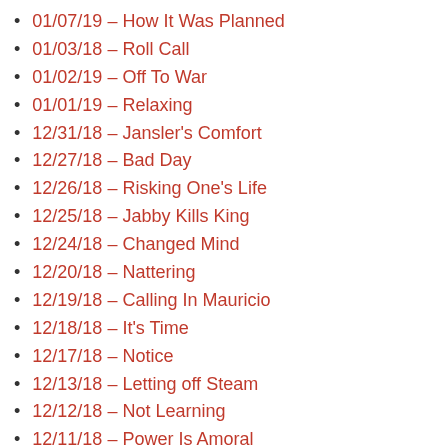01/07/19 – How It Was Planned
01/03/18 – Roll Call
01/02/19 – Off To War
01/01/19 – Relaxing
12/31/18 – Jansler's Comfort
12/27/18 – Bad Day
12/26/18 – Risking One's Life
12/25/18 – Jabby Kills King
12/24/18 – Changed Mind
12/20/18 – Nattering
12/19/18 – Calling In Mauricio
12/18/18 – It's Time
12/17/18 – Notice
12/13/18 – Letting off Steam
12/12/18 – Not Learning
12/11/18 – Power Is Amoral
12/10/18 – Stove Baggage
12/09/18 – …